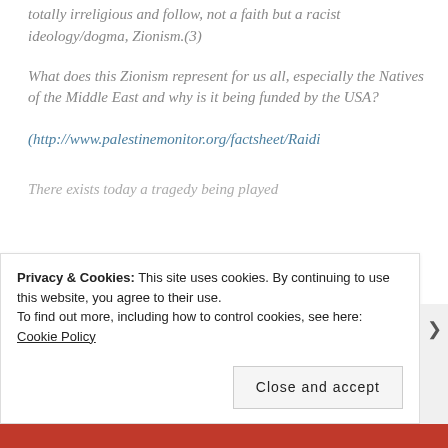totally irreligious and follow, not a faith but a racist ideology/dogma, Zionism.(3)
What does this Zionism represent for us all, especially the Natives of the Middle East and why is it being funded by the USA?
(http://www.palestinemonitor.org/factsheet/Raidi
There exists today a tragedy being played
Privacy & Cookies: This site uses cookies. By continuing to use this website, you agree to their use.
To find out more, including how to control cookies, see here: Cookie Policy
Close and accept